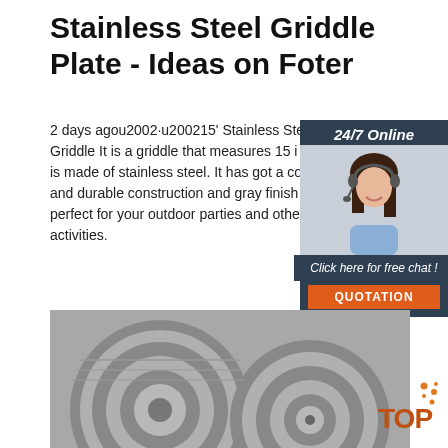Stainless Steel Griddle Plate - Ideas on Foter
2 days agou2002·u200215' Stainless Steel Griddle It is a griddle that measures 15 in is made of stainless steel. It has got a co and durable construction and gray finish perfect for your outdoor parties and othe activities.
[Figure (other): Chat widget with agent photo, '24/7 Online' header, 'Click here for free chat!' text, and QUOTATION button]
[Figure (photo): Large coils of stainless steel sheet metal]
[Figure (logo): TOP logo with orange dots in top-right corner of bottom image]